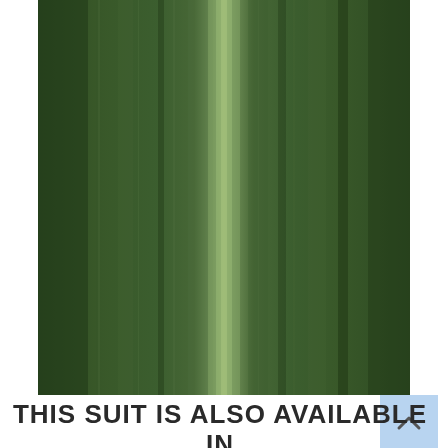[Figure (photo): Close-up photograph of dark green fabric with vertical folds and a lighter green highlight/sheen running down the center, suggesting a suit fabric swatch.]
THIS SUIT IS ALSO AVAILABLE IN THESE FABRICS